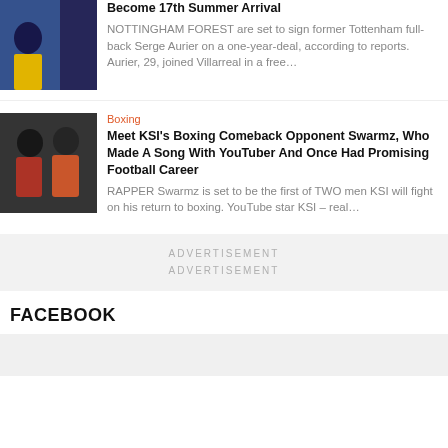[Figure (photo): Sports player in yellow uniform, cropped thumbnail]
Become 17th Summer Arrival
NOTTINGHAM FOREST are set to sign former Tottenham full-back Serge Aurier on a one-year-deal, according to reports. Aurier, 29, joined Villarreal in a free…
[Figure (photo): Two men in red/orange jackets posing for photo – KSI and Swarmz]
Boxing
Meet KSI's Boxing Comeback Opponent Swarmz, Who Made A Song With YouTuber And Once Had Promising Football Career
RAPPER Swarmz is set to be the first of TWO men KSI will fight on his return to boxing. YouTube star KSI – real…
ADVERTISEMENT
ADVERTISEMENT
FACEBOOK